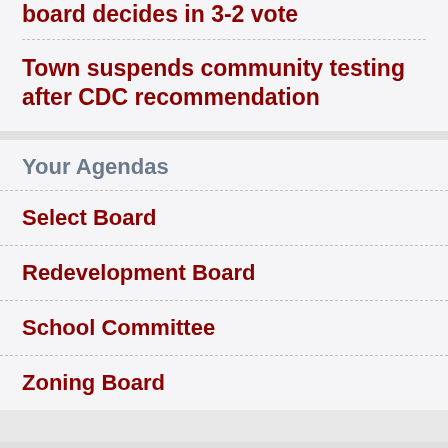board decides in 3-2 vote
Town suspends community testing after CDC recommendation
Your Agendas
Select Board
Redevelopment Board
School Committee
Zoning Board